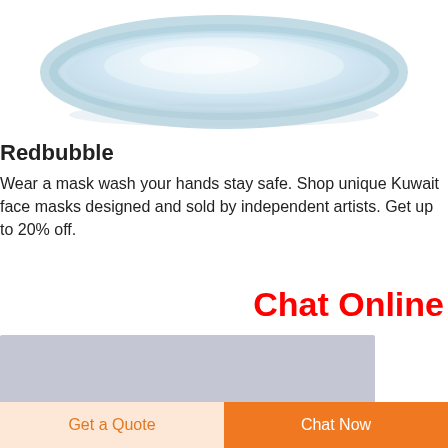[Figure (photo): Bottom portion of a transparent/clear face mask product shown from above, with glossy reflective surface on white background]
Redbubble
Wear a mask wash your hands stay safe. Shop unique Kuwait face masks designed and sold by independent artists. Get up to 20% off.
Chat Online
[Figure (photo): Gray/blue-gray rectangular placeholder image]
Get a Quote
Chat Now